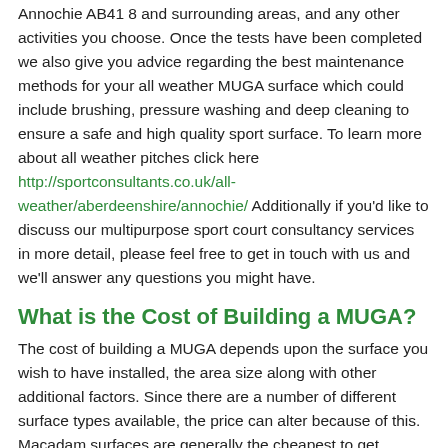Annochie AB41 8 and surrounding areas, and any other activities you choose. Once the tests have been completed we also give you advice regarding the best maintenance methods for your all weather MUGA surface which could include brushing, pressure washing and deep cleaning to ensure a safe and high quality sport surface. To learn more about all weather pitches click here http://sportconsultants.co.uk/all-weather/aberdeenshire/annochie/ Additionally if you'd like to discuss our multipurpose sport court consultancy services in more detail, please feel free to get in touch with us and we'll answer any questions you might have.
What is the Cost of Building a MUGA?
The cost of building a MUGA depends upon the surface you wish to have installed, the area size along with other additional factors. Since there are a number of different surface types available, the price can alter because of this. Macadam surfaces are generally the cheapest to get installed, because less preparation work is needed and tarmac is a relatively cheap material. Our specialist consultants can provide you with details on what surface type qould